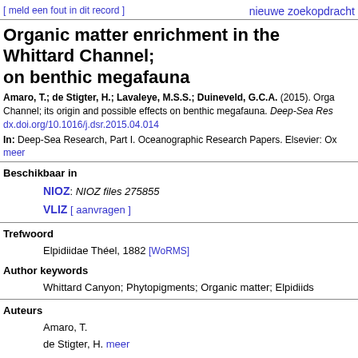nieuwe zoekopdracht
[ meld een fout in dit record ]
Organic matter enrichment in the Whittard Channel; on benthic megafauna
Amaro, T.; de Stigter, H.; Lavaleye, M.S.S.; Duineveld, G.C.A. (2015). Orga Channel; its origin and possible effects on benthic megafauna. Deep-Sea Res dx.doi.org/10.1016/j.dsr.2015.04.014
In: Deep-Sea Research, Part I. Oceanographic Research Papers. Elsevier: Ox meer
Beschikbaar in
NIOZ: NIOZ files 275855
VLIZ [ aanvragen ]
Trefwoord
Elpidiidae Théel, 1882 [WoRMS]
Author keywords
Whittard Canyon; Phytopigments; Organic matter; Elpidiids
Auteurs
Amaro, T.
de Stigter, H. meer